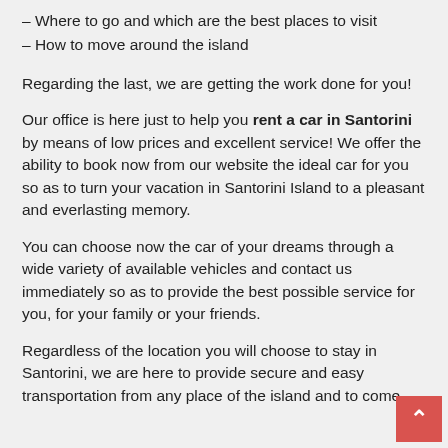– Where to go and which are the best places to visit
– How to move around the island
Regarding the last, we are getting the work done for you!
Our office is here just to help you rent a car in Santorini by means of low prices and excellent service! We offer the ability to book now from our website the ideal car for you so as to turn your vacation in Santorini Island to a pleasant and everlasting memory.
You can choose now the car of your dreams through a wide variety of available vehicles and contact us immediately so as to provide the best possible service for you, for your family or your friends.
Regardless of the location you will choose to stay in Santorini, we are here to provide secure and easy transportation from any place of the island and to come up with the most possible and close to you results.